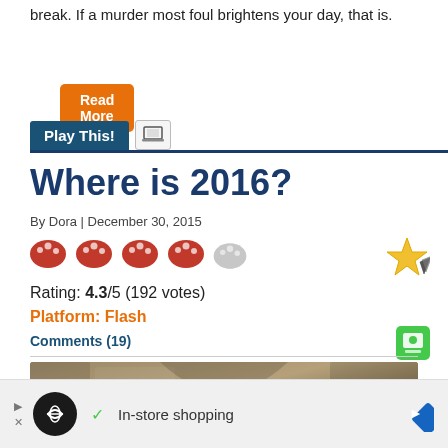break. If a murder most foul brightens your day, that is.
Read More
Play This!
Where is 2016?
By Dora | December 30, 2015
Rating: 4.3/5 (192 votes)
Platform: Flash
Comments (19)
[Figure (screenshot): Game screenshot showing 'Where is 2016?' title on a stone archway background]
[Figure (infographic): Advertisement bar with Bing logo, triangle arrow, X close button, checkmark, 'In-store shopping' text, and blue diamond navigation arrow]